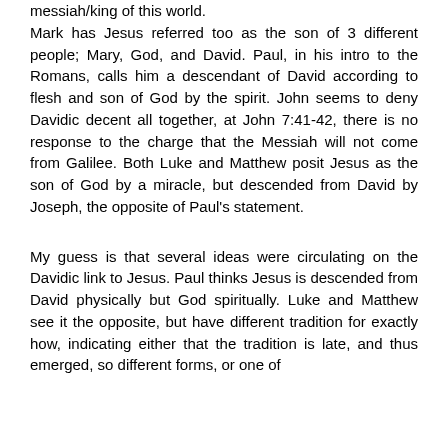messiah/king of this world. Mark has Jesus referred too as the son of 3 different people; Mary, God, and David. Paul, in his intro to the Romans, calls him a descendant of David according to flesh and son of God by the spirit. John seems to deny Davidic decent all together, at John 7:41-42, there is no response to the charge that the Messiah will not come from Galilee. Both Luke and Matthew posit Jesus as the son of God by a miracle, but descended from David by Joseph, the opposite of Paul's statement.
My guess is that several ideas were circulating on the Davidic link to Jesus. Paul thinks Jesus is descended from David physically but God spiritually. Luke and Matthew see it the opposite, but have different tradition for exactly how, indicating either that the tradition is late, and thus emerged, so different forms, or one of